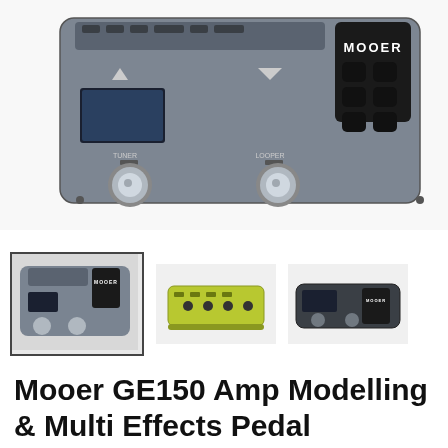[Figure (photo): Top-down view of a Mooer GE150 guitar multi-effects pedal board in silver/grey color with MOOER branding, showing two footswitches labeled TUNER and LOOPER, multiple buttons on top, and a row of black drum pad buttons on the right side.]
[Figure (photo): Three thumbnail images of the Mooer GE150: first (selected, with border) shows front angle view, second shows a green/yellow colored variant from above, third shows a dark angled view.]
Mooer GE150 Amp Modelling & Multi Effects Pedal